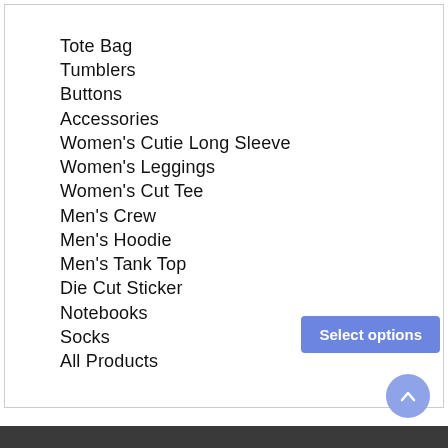Tote Bag
Tumblers
Buttons
Accessories
Women's Cutie Long Sleeve
Women's Leggings
Women's Cut Tee
Men's Crew
Men's Hoodie
Men's Tank Top
Die Cut Sticker
Notebooks
Socks
All Products